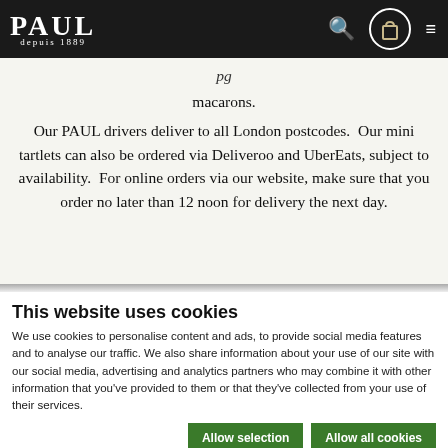PAUL depuis 1889
macarons.
Our PAUL drivers deliver to all London postcodes. Our mini tartlets can also be ordered via Deliveroo and UberEats, subject to availability. For online orders via our website, make sure that you order no later than 12 noon for delivery the next day.
This website uses cookies
We use cookies to personalise content and ads, to provide social media features and to analyse our traffic. We also share information about your use of our site with our social media, advertising and analytics partners who may combine it with other information that you've provided to them or that they've collected from your use of their services.
Allow selection | Allow all cookies | Necessary | Preferences | Statistics | Marketing | Show details